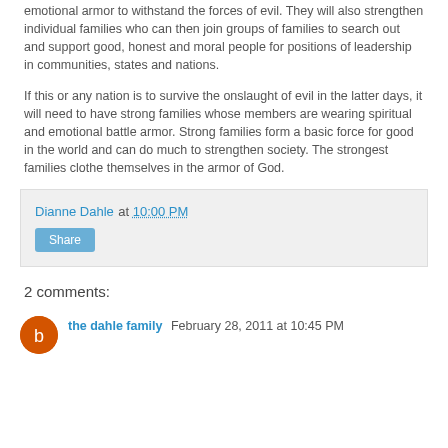emotional armor to withstand the forces of evil. They will also strengthen individual families who can then join groups of families to search out and support good, honest and moral people for positions of leadership in communities, states and nations.
If this or any nation is to survive the onslaught of evil in the latter days, it will need to have strong families whose members are wearing spiritual and emotional battle armor. Strong families form a basic force for good in the world and can do much to strengthen society. The strongest families clothe themselves in the armor of God.
Dianne Dahle at 10:00 PM
Share
2 comments:
the dahle family February 28, 2011 at 10:45 PM